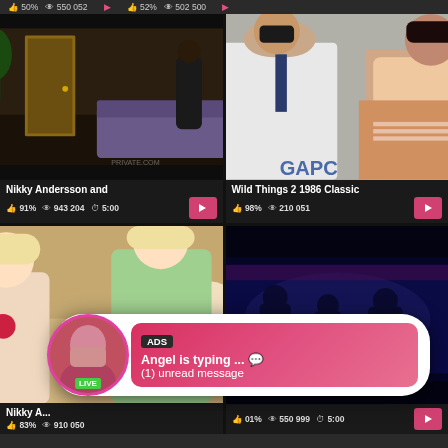[Figure (screenshot): Video thumbnail grid showing adult content website with 4 video cards and an ad popup overlay. Top-left card: Nikky Andersson video, 91% rating, 943 204 views, 5:00 duration. Top-right card: Wild Things 2 1986 Classic, 98% rating, 210 051 views. Bottom-left card: Nikky A... video, 83% rating, 910 050 views. Bottom-right card: partially visible card, 01%, 550 999 views, 5:00 duration. Ad popup overlay shows 'Angel is typing... (1) unread message' with LIVE avatar badge.]